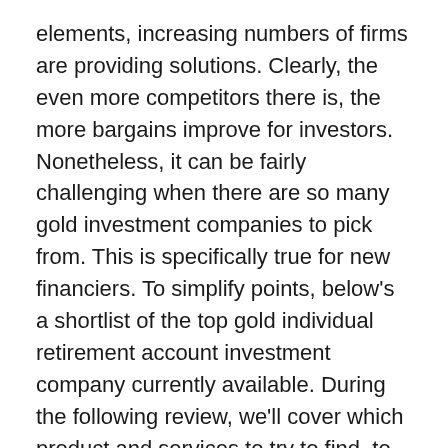elements, increasing numbers of firms are providing solutions. Clearly, the even more competitors there is, the more bargains improve for investors. Nonetheless, it can be fairly challenging when there are so many gold investment companies to pick from. This is specifically true for new financiers. To simplify points, below's a shortlist of the top gold individual retirement account investment company currently available. During the following review, we'll cover which product and services to try to find, to make a decision which firm to attach. After this, you can begin to safeguard your financial future immediately.
This is our extensive analysis of the leading gold individual retirement account investment firm…